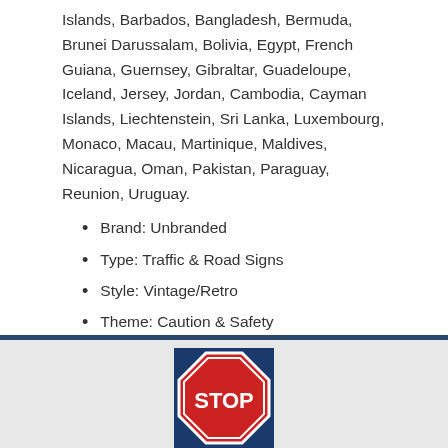Islands, Barbados, Bangladesh, Bermuda, Brunei Darussalam, Bolivia, Egypt, French Guiana, Guernsey, Gibraltar, Guadeloupe, Iceland, Jersey, Jordan, Cambodia, Cayman Islands, Liechtenstein, Sri Lanka, Luxembourg, Monaco, Macau, Martinique, Maldives, Nicaragua, Oman, Pakistan, Paraguay, Reunion, Uruguay.
Brand: Unbranded
Type: Traffic & Road Signs
Style: Vintage/Retro
Theme: Caution & Safety
View on eBay
Posted in 1960's | Tagged 1960s, angeles, carefully, county, drive, sign, traffic
[Figure (photo): Stop sign image at the bottom of the page]